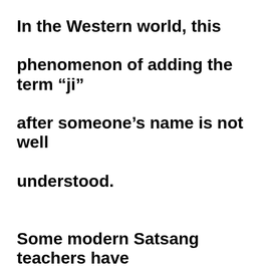In the Western world, this phenomenon of adding the term “ji” after someone’s name is not well understood.

Some modern Satsang teachers have made “ji” simply part of their chosen spiritual nickname, hence forcing